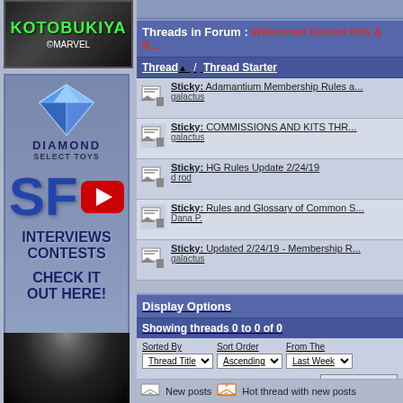[Figure (illustration): Kotobukiya Marvel advertisement banner with green text logo]
[Figure (illustration): Diamond Select Toys advertisement with SF YouTube logo, Interviews, Contests, Check It Out Here text]
[Figure (photo): Photo of person with dark hair]
Threads in Forum : Welcome! Forum Info & R...
| Thread / Thread Starter |
| --- |
| Sticky: Adamantium Membership Rules a... | galactus |
| Sticky: COMMISSIONS AND KITS THR... | galactus |
| Sticky: HG Rules Update 2/24/19 | d rod |
| Sticky: Rules and Glossary of Common S... | Dana P. |
| Sticky: Updated 2/24/19 - Membership R... | galactus |
Display Options
Showing threads 0 to 0 of 0
Sorted By: Thread Title | Sort Order: Ascending | From The: Last Week
Show Threads
New posts | Hot thread with new posts